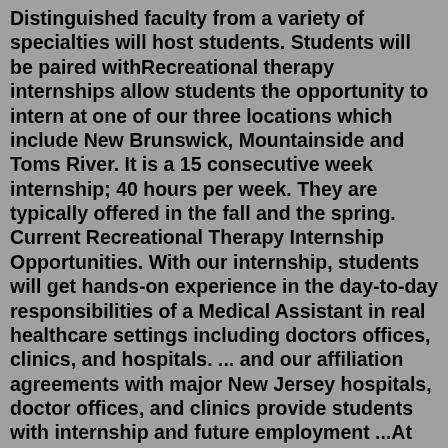Distinguished faculty from a variety of specialties will host students. Students will be paired withRecreational therapy internships allow students the opportunity to intern at one of our three locations which include New Brunswick, Mountainside and Toms River. It is a 15 consecutive week internship; 40 hours per week. They are typically offered in the fall and the spring. Current Recreational Therapy Internship Opportunities. With our internship, students will get hands-on experience in the day-to-day responsibilities of a Medical Assistant in real healthcare settings including doctors offices, clinics, and hospitals. ... and our affiliation agreements with major New Jersey hospitals, doctor offices, and clinics provide students with internship and future employment ...At the National Student Leadership Conference summer Forensic Science program, high school students unravel a mystery as they conduct an investigation and build a body of evidence. Interact with experts in medicine, law enforcement and the